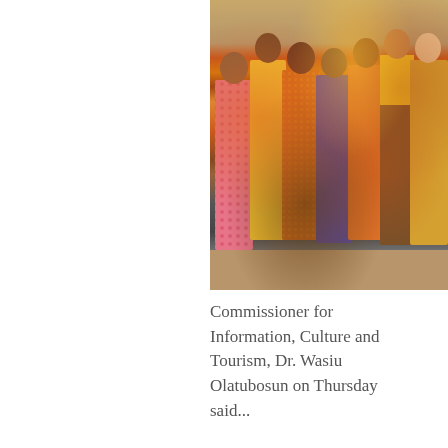[Figure (photo): Group of people in colorful traditional African attire standing in a row]
Commissioner for Information, Culture and Tourism, Dr. Wasiu Olatubosun on Thursday said...
more»
Osinbajo launches FG's Energy transition plan as Nigeria seeks $10B initial support package
[Figure (advertisement): sweetFrog advertisement: Ice things up & give it a try]